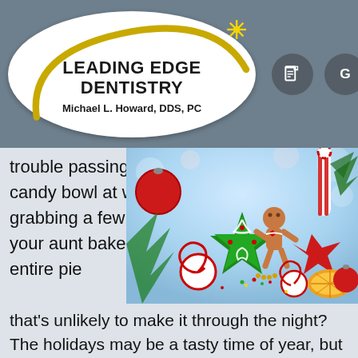[Figure (logo): Leading Edge Dentistry logo — white oval with gold arc, star burst, bold text 'LEADING EDGE DENTISTRY' and subtitle 'Michael L. Howard, DDS, PC'. Two circular icon buttons (document and Google G) to the right.]
[Figure (photo): Photo of colorful Christmas holiday cookies and candies: green star-shaped frosted cookie, gingerbread man, candy canes, red star cookies, swirl lollipops, Christmas ornaments, and festive decorations on a light blue bokeh background.]
trouble passing by the candy bowl at work without grabbing a few treats? Did your aunt bake you an entire pie that's unlikely to make it through the night? The holidays may be a tasty time of year, but all the sugar we're faced with can mean bad news for our teeth. How can you survive the season without putting your pearly whites at risk of damage and